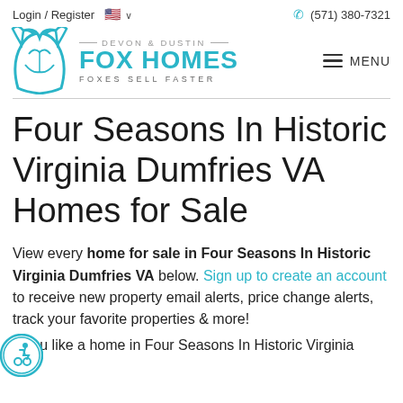Login / Register   🇺🇸 ∨   (571) 380-7321
[Figure (logo): Devon & Dustin Fox Homes logo with teal fox icon and text 'DEVON & DUSTIN FOX HOMES FOXES SELL FASTER']
Four Seasons In Historic Virginia Dumfries VA Homes for Sale
View every home for sale in Four Seasons In Historic Virginia Dumfries VA below. Sign up to create an account to receive new property email alerts, price change alerts, track your favorite properties & more!
If you like a home in Four Seasons In Historic Virginia